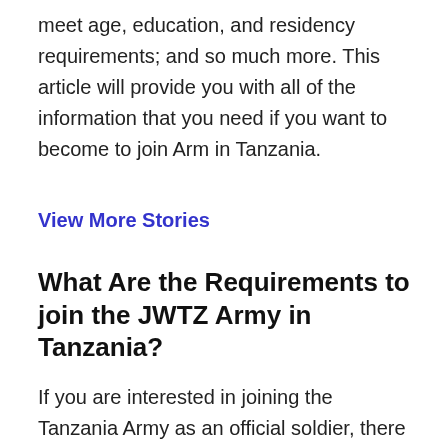meet age, education, and residency requirements; and so much more. This article will provide you with all of the information that you need if you want to become to join Arm in Tanzania.
View More Stories
What Are the Requirements to join the JWTZ Army in Tanzania?
If you are interested in joining the Tanzania Army as an official soldier, there are certain prerequisites that you will need to meet first. Every applicant must meet these qualifications before enlisting with any branch of Tanzania